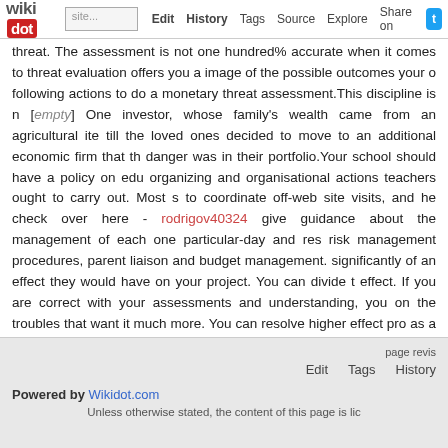wikidot | Edit | History | Tags | Source | Explore | Share on [Twitter]
threat. The assessment is not one hundred% accurate when it comes to threat evaluation offers you a image of the possible outcomes your o following actions to do a monetary threat assessment.This discipline is n [empty] One investor, whose family's wealth came from an agricultural ite till the loved ones decided to move to an additional economic firm that th danger was in their portfolio.Your school should have a policy on edu organizing and organisational actions teachers ought to carry out. Most s to coordinate off-web site visits, and he check over here - rodrigov40324 give guidance about the management of each one particular-day and res risk management procedures, parent liaison and budget management. significantly of an effect they would have on your project. You can divide t effect. If you are correct with your assessments and understanding, you on the troubles that want it much more. You can resolve higher effect pro as a result minimising the damage caused.
Comments: 0
Add a New Comment
page revis | Edit  Tags  History
Powered by Wikidot.com
Unless otherwise stated, the content of this page is lic